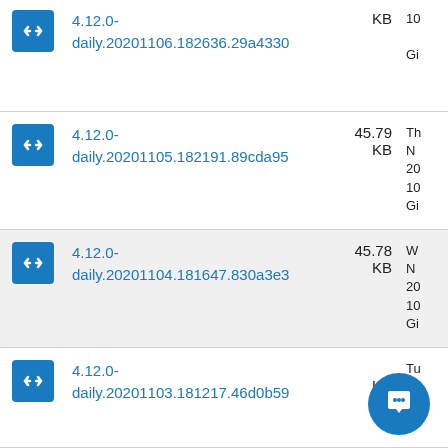4.12.0-daily.20201106.182636.29a4330 KB 10 Gi
4.12.0-daily.20201105.182191.89cda95 45.79 KB Th No 20 10 Gi
4.12.0-daily.20201104.181647.830a3e3 45.78 KB We No 20 10 Gi
4.12.0-daily.20201103.181217.46d0b59 KB Tu No 20 10